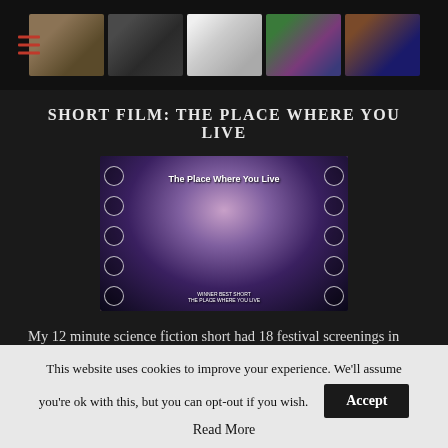Navigation header with hamburger menu and film thumbnail images
SHORT FILM: THE PLACE WHERE YOU LIVE
[Figure (photo): Movie poster for 'The Place Where You Live' short film, showing a figure in a dramatically lit room with award laurels on left and right sides]
My 12 minute science fiction short had 18 festival screenings in 2014-2015, including the Fort Lauderdale Film Festival, and which won Best Leading Lady at ConCarolinas, Special Jury Prize at Worldfest-Houston, Best Science Fiction Short at Big Easy, along
This website uses cookies to improve your experience. We'll assume you're ok with this, but you can opt-out if you wish.
Accept
Read More